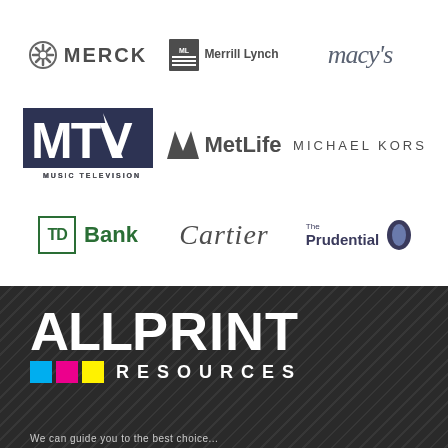[Figure (logo): Merck logo with hexagonal icon and wordmark]
[Figure (logo): Merrill Lynch logo with bull icon and wordmark]
[Figure (logo): Macy's logo in italic serif font]
[Figure (logo): MTV Music Television logo in dark blue block style]
[Figure (logo): MetLife logo with stylized M icon and wordmark]
[Figure (logo): Michael Kors wordmark in spaced serif capitals]
[Figure (logo): TD Bank logo with green TD box and Bank text]
[Figure (logo): Cartier wordmark in italic serif font]
[Figure (logo): The Prudential logo with rock icon and wordmark]
[Figure (logo): AllPrint Resources logo with colored squares on dark background]
We can guide you to the best choice...